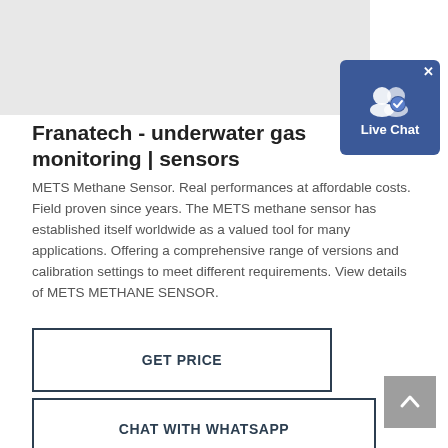[Figure (other): Gray image placeholder area in top left of page (blurred/loading image)]
[Figure (other): Live Chat widget button with blue background, people icon with checkmark, and 'Live Chat' label, with X close button]
Franatech - underwater gas monitoring | sensors
METS Methane Sensor. Real performances at affordable costs. Field proven since years. The METS methane sensor has established itself worldwide as a valued tool for many applications. Offering a comprehensive range of versions and calibration settings to meet different requirements. View details of METS METHANE SENSOR.
GET PRICE
CHAT WITH WHATSAPP